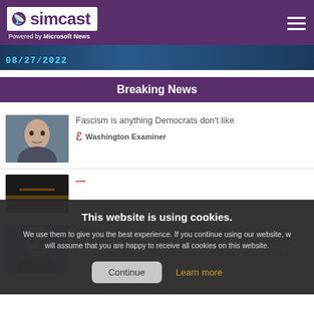simcast — Powered by Microsoft News
[Figure (photo): Hero image strip with date 08/27/2022 in teal monospace font on dark blue background]
Breaking News
[Figure (photo): Thumbnail photo of Joe Biden with serious expression, blue-grey tones]
Fascism is anything Democrats don't like
Washington Examiner
This website is using cookies. We use them to give you the best experience. If you continue using our website, we will assume that you are happy to receive all cookies on this website.
Continue
Learn more
[Figure (photo): Thumbnail of dark night road scene]
[Figure (photo): Thumbnail photo of Janet Yellen]
Janet Yellen was skeptical of President Biden's student-loan forgiveness plan and Jill Biden expressed reservations, while Kamala Harris was a huge backer of debt cancellation: NYT